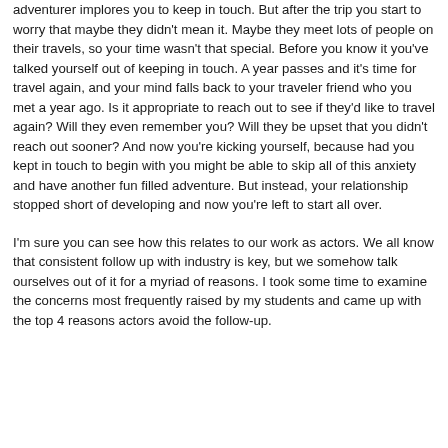adventurer implores you to keep in touch. But after the trip you start to worry that maybe they didn't mean it. Maybe they meet lots of people on their travels, so your time wasn't that special. Before you know it you've talked yourself out of keeping in touch. A year passes and it's time for travel again, and your mind falls back to your traveler friend who you met a year ago. Is it appropriate to reach out to see if they'd like to travel again? Will they even remember you? Will they be upset that you didn't reach out sooner? And now you're kicking yourself, because had you kept in touch to begin with you might be able to skip all of this anxiety and have another fun filled adventure. But instead, your relationship stopped short of developing and now you're left to start all over.
I'm sure you can see how this relates to our work as actors. We all know that consistent follow up with industry is key, but we somehow talk ourselves out of it for a myriad of reasons. I took some time to examine the concerns most frequently raised by my students and came up with the top 4 reasons actors avoid the follow-up.